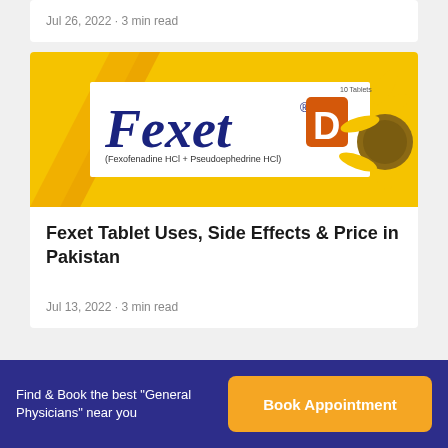Jul 26, 2022 · 3 min read
[Figure (photo): Fexet D tablet packaging box with yellow background and sunflower, text reads Fexofenadine HCl + Pseudoephedrine HCl]
Fexet Tablet Uses, Side Effects & Price in Pakistan
Jul 13, 2022 · 3 min read
Find & Book the best "General Physicians" near you
Book Appointment